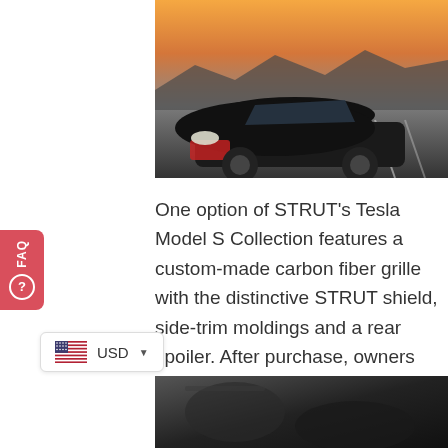[Figure (photo): A dark/black Tesla Model S driving on a highway at sunset, viewed from front-left angle, with mountains and orange sky in background]
One option of STRUT's Tesla Model S Collection features a custom-made carbon fiber grille with the distinctive STRUT shield, side-trim moldings and a rear spoiler. After purchase, owners can further personalize any of the collections components with color accents through a local custom shop.
[Figure (photo): Partial view of a dark Tesla Model S interior or exterior detail, cropped at bottom of page]